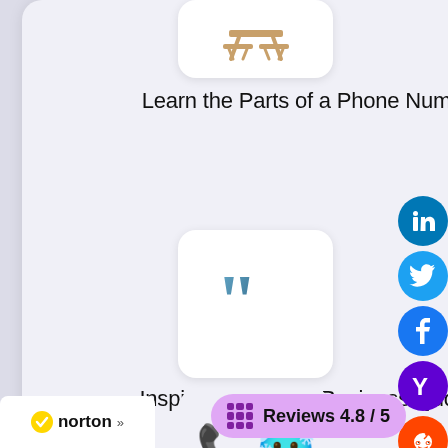[Figure (illustration): App icon with picnic table graphic on white rounded square background]
Learn the Parts of a Phone Number
[Figure (illustration): App icon with large quotation marks (99) on white rounded square background]
Inspirational Small Business Quotes
[Figure (illustration): App icon with phone handset and cold face emoji]
[Figure (other): Social media share buttons: LinkedIn, Twitter, Facebook, Yahoo, Reddit, and chain-link circle icons]
[Figure (logo): Norton security badge with checkmark]
Reviews 4.8 / 5